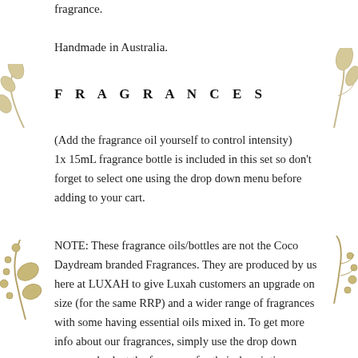fragrance.
Handmade in Australia.
FRAGRANCES
(Add the fragrance oil yourself to control intensity)
1x 15mL fragrance bottle is included in this set so don't forget to select one using the drop down menu before adding to your cart.
NOTE: These fragrance oils/bottles are not the Coco Daydream branded Fragrances. They are produced by us here at LUXAH to give Luxah customers an upgrade on size (for the same RRP) and a wider range of fragrances with some having essential oils mixed in. To get more info about our fragrances, simply use the drop down menu and select the fragrance for their descriptions.
[Figure (illustration): Botanical flower/berry decorative illustrations in muted gold/olive tones on left and right sides of the page]